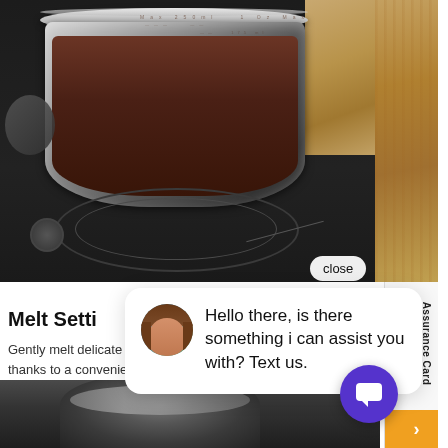[Figure (photo): Photo of a stainless steel pot with dark chocolate/liquid content on a black induction cooktop, wooden cutting board visible at top right]
close
[Figure (screenshot): Chat widget popup with avatar of a woman and message: Hello there, is there something i can assist you with? Text us.]
Melt Setti
Gently melt delicate foods without scorching thanks to a convenient melt setting
[Figure (photo): Bottom strip photo showing cookware on stovetop]
[Figure (screenshot): Purple circular chat icon button with message icon, bottom right corner]